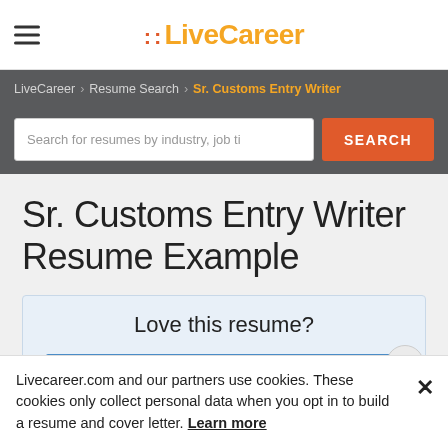LiveCareer
LiveCareer > Resume Search > Sr. Customs Entry Writer
Search for resumes by industry, job ti
Sr. Customs Entry Writer Resume Example
Love this resume?
Livecareer.com and our partners use cookies. These cookies only collect personal data when you opt in to build a resume and cover letter. Learn more